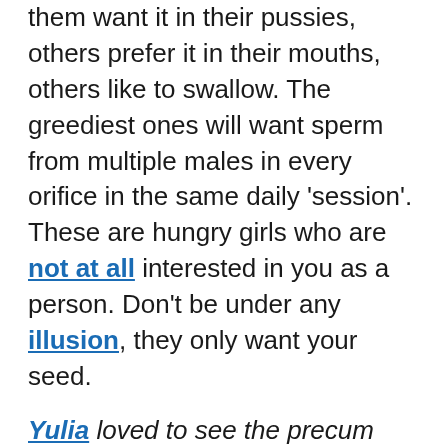them want it in their pussies, others prefer it in their mouths, others like to swallow. The greediest ones will want sperm from multiple males in every orifice in the same daily 'session'. These are hungry girls who are not at all interested in you as a person. Don't be under any illusion, they only want your seed.
Yulia loved to see the precum seeping out of the 'eye'. As she licked it off her mouth watered in anticipation of what was coming. She hoped for a strong, thick, white, gelatinous torrent of cum. She wanted it to spurt out, hot on her lips and tongue. She wanted to savour it, really taste it and enjoy it before slowly swallowing. She loved the slight sting of it in her mouth and in her throat as it slid down to her stomach. She would then drink a